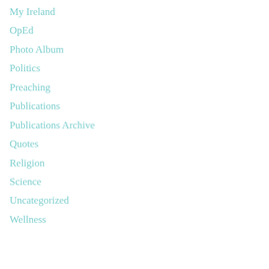My Ireland
OpEd
Photo Album
Politics
Preaching
Publications
Publications Archive
Quotes
Religion
Science
Uncategorized
Wellness
Meta
Log in
Entries feed
Comments feed
WordPress.org